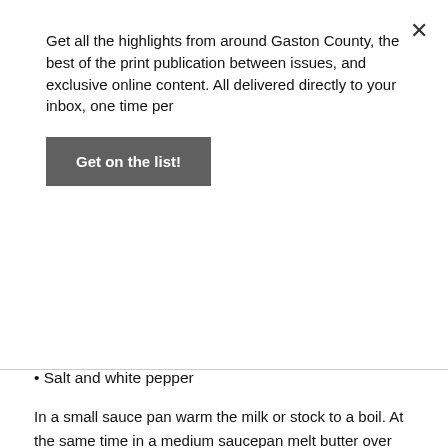Get all the highlights from around Gaston County, the best of the print publication between issues, and exclusive online content. All delivered directly to your inbox, one time per
Get on the list!
• Salt and white pepper
In a small sauce pan warm the milk or stock to a boil. At the same time in a medium saucepan melt butter over low heat, add the flour and stir allowing the butter and flour to foam for about two minutes.
Remove the roux from the heat and add the liquid, utilizing a wire whip beat the mixture and return to a medium heat and bring to a boil. Boil for approximately one minute.
Remove the sauce from the heat and season to taste with Salt and white pepper. It is ready to be used as is, or it can